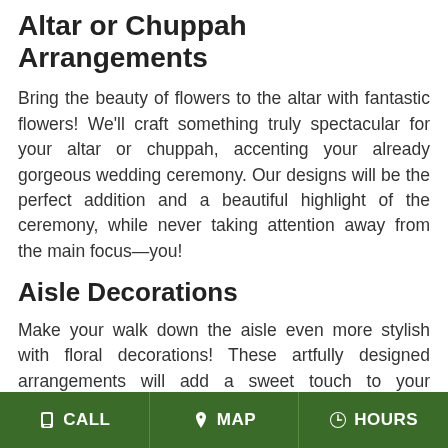Altar or Chuppah Arrangements
Bring the beauty of flowers to the altar with fantastic flowers! We'll craft something truly spectacular for your altar or chuppah, accenting your already gorgeous wedding ceremony. Our designs will be the perfect addition and a beautiful highlight of the ceremony, while never taking attention away from the main focus—you!
Aisle Decorations
Make your walk down the aisle even more stylish with floral decorations! These artfully designed arrangements will add a sweet touch to your wedding ceremony decor. From pew decorations to chair accents and more, we've got you covered. At DIETZ FLOWER SHOP & TUXEDO RENTAL, we strive to make sure all of your floral arrangements fit the vision you
CALL   MAP   HOURS